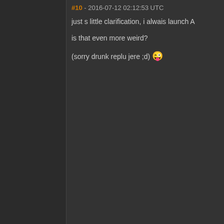#10 - 2016-07-12 02:12:53 UTC
just s little clarification, i alwais launch A
is that even more weird?
(sorry drunk replu jere ;d) 😜
Grigori
Viziam
Amarr Empire
Likes received: 4
#11 - 2016-07-12 03:28:08 UTC  |  Edited b
DeMichael Crimson wrote:
KaarBaak wrote:
Interesting. I've always used a to 100% generally when I get
Decided a couple weeks ago t more...contested...areas (wor
KaarBaak
Squirrel Team
Likes received: 443